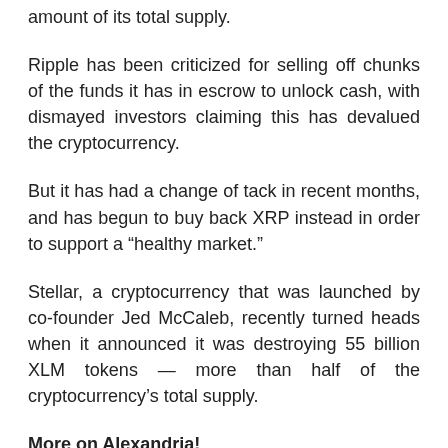amount of its total supply.
Ripple has been criticized for selling off chunks of the funds it has in escrow to unlock cash, with dismayed investors claiming this has devalued the cryptocurrency.
But it has had a change of tack in recent months, and has begun to buy back XRP instead in order to support a “healthy market.”
Stellar, a cryptocurrency that was launched by co-founder Jed McCaleb, recently turned heads when it announced it was destroying 55 billion XLM tokens — more than half of the cryptocurrency’s total supply.
More on Alexandria!